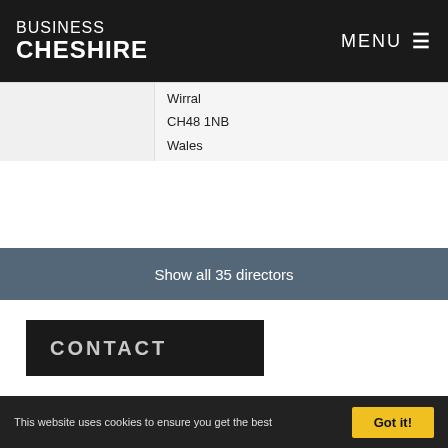BUSINESS CHESHIRE | MENU
|  | Address |
| --- | --- |
|  | Wirral
CH48 1NB
Wales |
Show all 35 directors
CONTACT
| Field | Value |
| --- | --- |
| Website | caldygolfclub.co.uk |
| Telephone | 01821 001651 |
| Telephone | Kinrossie |
This website uses cookies to ensure you get the best